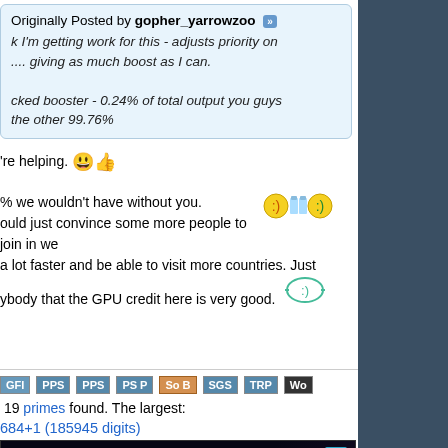Originally Posted by gopher_yarrowzoo
k I'm getting work for this - adjusts priority on .... giving as much boost as I can. cked booster - 0.24% of total output you guys the other 99.76%
're helping.
% we wouldn't have without you. ould just convince some more people to join in we a lot faster and be able to visit more countries. Just ybody that the GPU credit here is very good.
19 primes found. The largest:
684+1 (185945 digits)
[Figure (screenshot): Free-DC's Stats showing Credits table with projects including Ufluids@Home (457,144,985), Orbit@Home (309,042,542), Drug Discovery@Home (122,875,117), Cosmology@Home (100,700,196), Sztaki (78,623,428) and corresponding credits 292,650; 291,421; 290,436; 286,980; 234,662]